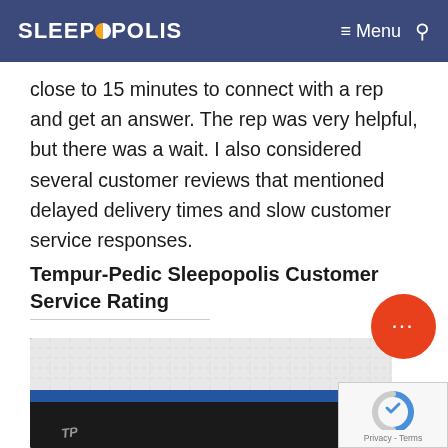SLEEPOPOLIS | Menu
close to 15 minutes to connect with a rep and get an answer. The rep was very helpful, but there was a wait. I also considered several customer reviews that mentioned delayed delivery times and slow customer service responses.
Tempur-Pedic Sleepopolis Customer Service Rating
[Figure (photo): Close-up photo of a mattress with a white quilted top surface and a black and blue side border, with a logo embroidered in white thread visible at the bottom left.]